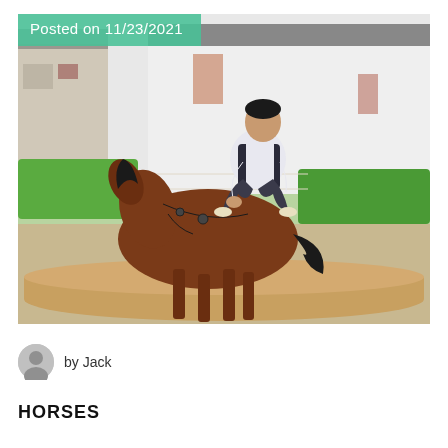[Figure (photo): A man in a white shirt and dark vest crouching/jumping over a brown horse at an equestrian arena. The horse has a black mane and is wearing a harness. Background shows white buildings with red brick accents and green hedges. A tan cylindrical obstacle is on the ground. Overlaid green banner reads 'Posted on 11/23/2021'.]
Posted on 11/23/2021
by Jack
HORSES